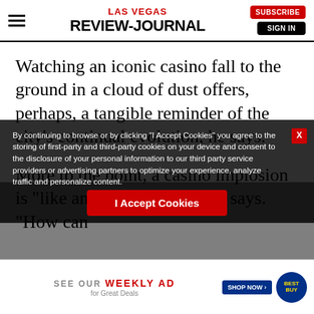[Figure (logo): Las Vegas Review-Journal newspaper masthead header with hamburger menu, logo, Subscribe button, and Sign In button]
Watching an iconic casino fall to the ground in a cloud of dust offers, perhaps, a tangible reminder of the city's continual evolution, he says.
More to the point, a casino implosion is “like an Irish wake,” Perry says. “How can you not celebrate the life and glory of the Riviera, especially here in Las Vegas, we like to party and we like to celebrate, so,
By continuing to browse or by clicking “I Accept Cookies” you agree to the storing of first-party and third-party cookies on your device and consent to the disclosure of your personal information to our third party service providers or advertising partners to optimize your experience, analyze traffic and personalize content.
I Accept Cookies
[Figure (infographic): SEE OUR WEEKLY AD for Great Deals — Best Buy advertisement banner at bottom of page]